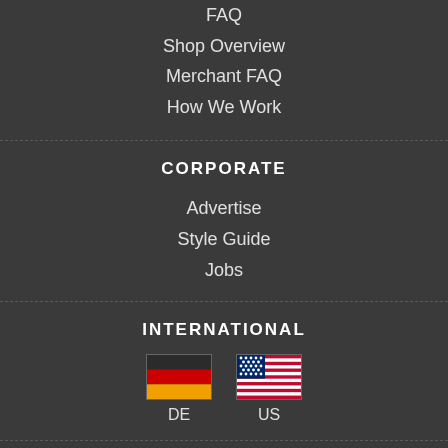FAQ
Shop Overview
Merchant FAQ
How We Work
CORPORATE
Advertise
Style Guide
Jobs
INTERNATIONAL
[Figure (illustration): German flag icon above text DE and US flag icon above text US]
KEEP IN TOUCH